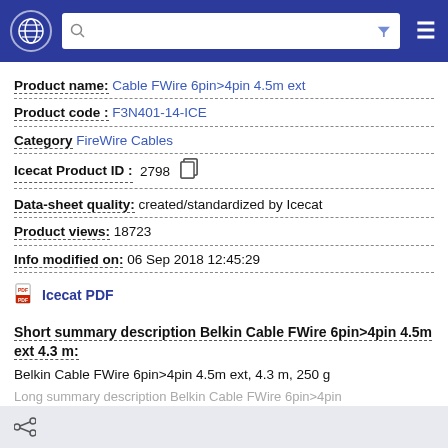Navigation header with globe icon, search box, filter icon, and menu icon
Product name: Cable FWire 6pin>4pin 4.5m ext
Product code: F3N401-14-ICE
Category FireWire Cables
Icecat Product ID: 2798
Data-sheet quality: created/standardized by Icecat
Product views: 18723
Info modified on: 06 Sep 2018 12:45:29
Icecat PDF
Short summary description Belkin Cable FWire 6pin>4pin 4.5m ext 4.3 m:
Belkin Cable FWire 6pin>4pin 4.5m ext, 4.3 m, 250 g
Long summary description Belkin Cable FWire 6pin>4pin